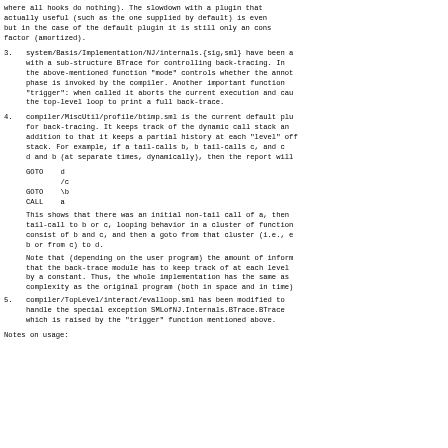where all hooks do nothing).  The slowdown with a plugin that actually useful (such as the one supplied by default) is even but in the case of the default plugin it is still only an cons factor (amortized).
3. system/Basis/Implementation/NJ/internals.{sig,sml} have been a with a sub-structure BTrace for controlling back-tracing.  In the above-mentioned function "mode" controls whether the annot phase is invoked by the compiler.  Another important function "trigger": when called it aborts the current execution and cau the top-level loop to print a full back-trace.
4. compiler/MiscUtil/profile/btimp.sml is the current default plu for back-tracing.  It keeps track of the dynamic call stack an addition to that it keeps a partial history at each "level" off stack.  For example, if a tail-calls b, b tail-calls c, and c d and b (at separate times, dynamically), then the report will
GOTO    d
        /c
GOTO    \b
CALL    a
This shows that there was an initial non-tail call of a, then tail-call to b or c, looping behavior in a cluster of function consist of b and c, and then a goto from that cluster (i.e., e b or from c) to d.
Note that (depending on the user program) the amount of inform that the back-trace module has to keep track of at each level by a constant.  Thus, the whole implementation has the same as complexity as the original program (both in space and in time)
5. compiler/TopLevel/interact/evalloop.sml has been modified to handle the special exception SMLofNJ.Internals.BTrace.BTrace which is raised by the "trigger" function mentioned above.
Notes on usage: